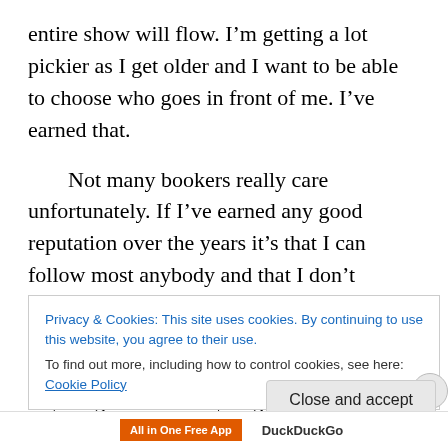entire show will flow. I'm getting a lot pickier as I get older and I want to be able to choose who goes in front of me. I've earned that.
Not many bookers really care unfortunately. If I've earned any good reputation over the years it's that I can follow most anybody and that I don't complain about it. I've had a lot of bookers tell me they put all their questionable acts in front of me because I can handle most anything and I'm easy to get along with. Gee, thanks. I'm penalized for being good.
Privacy & Cookies: This site uses cookies. By continuing to use this website, you agree to their use.
To find out more, including how to control cookies, see here: Cookie Policy